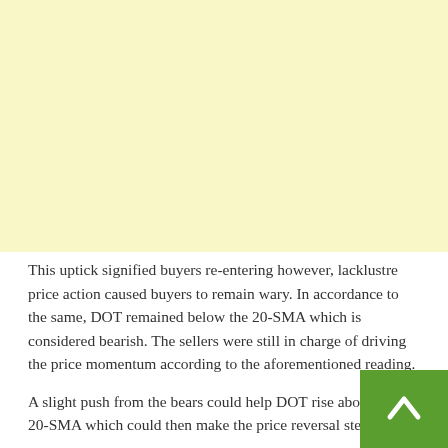[Figure (other): Light yellow rectangular block occupying the top portion of the page, representing an advertisement or image placeholder.]
This uptick signified buyers re-entering however, lacklustre price action caused buyers to remain wary. In accordance to the same, DOT remained below the 20-SMA which is considered bearish. The sellers were still in charge of driving the price momentum according to the aforementioned reading.
A slight push from the bears could help DOT rise above the 20-SMA which could then make the price reversal steady.